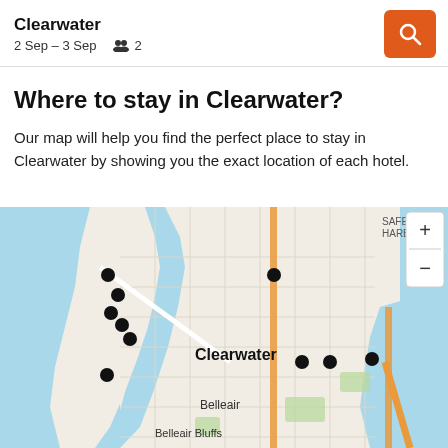Clearwater
2 Sep – 3 Sep   👥 2
Where to stay in Clearwater?
Our map will help you find the perfect place to stay in Clearwater by showing you the exact location of each hotel.
[Figure (map): Map of Clearwater area showing hotel locations as black dots. Map includes Clearwater Beach area on the left (west), Clearwater city center, Belleair, and Belleair Bluffs to the south. Safety Harbor label visible in top right. Map has zoom controls (+/-) on the right side. Orange/major roads visible running north-south. Several black dots indicating hotel locations clustered on the beach/peninsula and a few in the city grid area.]